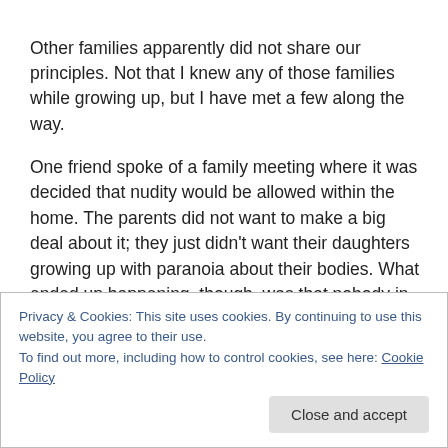Other families apparently did not share our principles. Not that I knew any of those families while growing up, but I have met a few along the way.
One friend spoke of a family meeting where it was decided that nudity would be allowed within the home. The parents did not want to make a big deal about it; they just didn't want their daughters growing up with paranoia about their bodies. What ended up happening, though, was that nobody in the family made use of the policy. They all used
Privacy & Cookies: This site uses cookies. By continuing to use this website, you agree to their use.
To find out more, including how to control cookies, see here: Cookie Policy
Close and accept